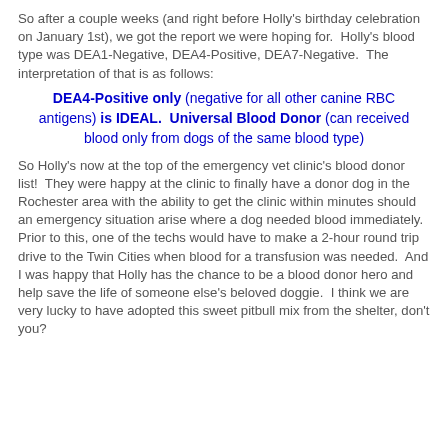So after a couple weeks (and right before Holly's birthday celebration on January 1st), we got the report we were hoping for.  Holly's blood type was DEA1-Negative, DEA4-Positive, DEA7-Negative.  The interpretation of that is as follows:
DEA4-Positive only (negative for all other canine RBC antigens) is IDEAL.  Universal Blood Donor (can received blood only from dogs of the same blood type)
So Holly's now at the top of the emergency vet clinic's blood donor list!  They were happy at the clinic to finally have a donor dog in the Rochester area with the ability to get the clinic within minutes should an emergency situation arise where a dog needed blood immediately.  Prior to this, one of the techs would have to make a 2-hour round trip drive to the Twin Cities when blood for a transfusion was needed.  And I was happy that Holly has the chance to be a blood donor hero and help save the life of someone else's beloved doggie.  I think we are very lucky to have adopted this sweet pitbull mix from the shelter, don't you?